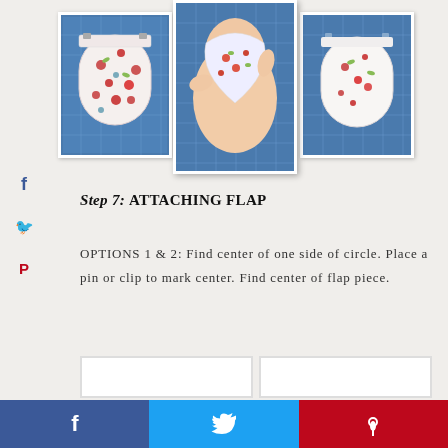[Figure (photo): Three sewing/craft tutorial photos showing flap pieces on a blue cutting mat background]
Step 7: ATTACHING FLAP
OPTIONS 1 & 2: Find center of one side of circle. Place a pin or clip to mark center. Find center of flap piece.
[Figure (photo): Two tutorial photos at bottom of page showing next steps]
Share buttons: Facebook, Twitter, Pinterest